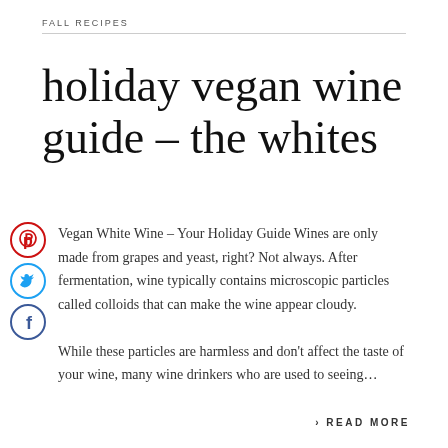FALL RECIPES
holiday vegan wine guide – the whites
Vegan White Wine – Your Holiday Guide Wines are only made from grapes and yeast, right? Not always. After fermentation, wine typically contains microscopic particles called colloids that can make the wine appear cloudy. While these particles are harmless and don't affect the taste of your wine, many wine drinkers who are used to seeing…
> READ MORE